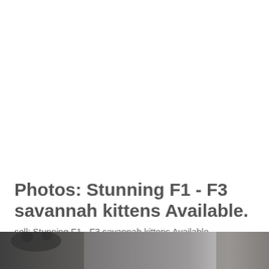Photos: Stunning F1 - F3 savannah kittens Available.
sell: Stunning F1 - F3 savannah kittens Available.
[Figure (photo): Bottom strip of a photograph showing savannah kittens, partially cropped — dark blurred background with cat silhouette visible at bottom of page.]